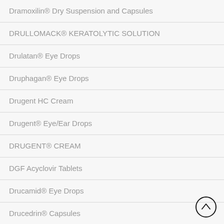Dramoxilin® Dry Suspension and Capsules
DRULLOMACK® KERATOLYTIC SOLUTION
Drulatan® Eye Drops
Druphagan® Eye Drops
Drugent HC Cream
Drugent® Eye/Ear Drops
DRUGENT® CREAM
DGF Acyclovir Tablets
Drucamid® Eye Drops
Drucedrin® Capsules